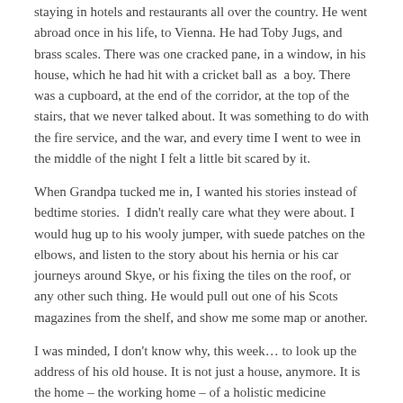staying in hotels and restaurants all over the country. He went abroad once in his life, to Vienna. He had Toby Jugs, and brass scales. There was one cracked pane, in a window, in his house, which he had hit with a cricket ball as  a boy. There was a cupboard, at the end of the corridor, at the top of the stairs, that we never talked about. It was something to do with the fire service, and the war, and every time I went to wee in the middle of the night I felt a little bit scared by it.
When Grandpa tucked me in, I wanted his stories instead of bedtime stories.  I didn't really care what they were about. I would hug up to his wooly jumper, with suede patches on the elbows, and listen to the story about his hernia or his car journeys around Skye, or his fixing the tiles on the roof, or any other such thing. He would pull out one of his Scots magazines from the shelf, and show me some map or another.
I was minded, I don't know why, this week… to look up the address of his old house. It is not just a house, anymore. It is the home – the working home – of a holistic medicine practitioner. He would be outraged. Bloody hippies. But it is very appropriate. Every one of his descendants – the ones who live nearby, the ones who live counties and countries and continents away – we all still feel his hand on our shoulder. We all feel his love, and his hope and his disappointment. Every one of